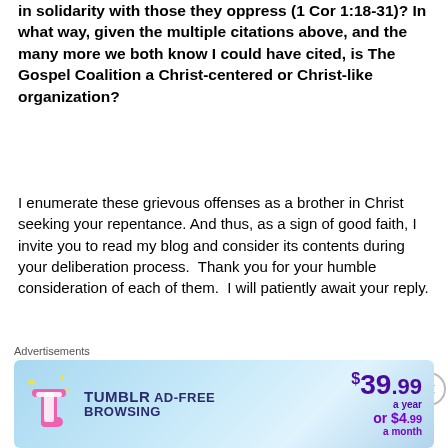in solidarity with those they oppress (1 Cor 1:18-31)? In what way, given the multiple citations above, and the many more we both know I could have cited, is The Gospel Coalition a Christ-centered or Christ-like organization?
I enumerate these grievous offenses as a brother in Christ seeking your repentance. And thus, as a sign of good faith, I invite you to read my blog and consider its contents during your deliberation process.  Thank you for your humble consideration of each of them.  I will patiently await your reply.
[Figure (screenshot): Tumblr Ad-Free Browsing advertisement banner. Shows Tumblr logo, text 'TUMBLR AD-FREE BROWSING', price $39.99 a year or $4.99 a month, with blue gradient background and sparkle decorations.]